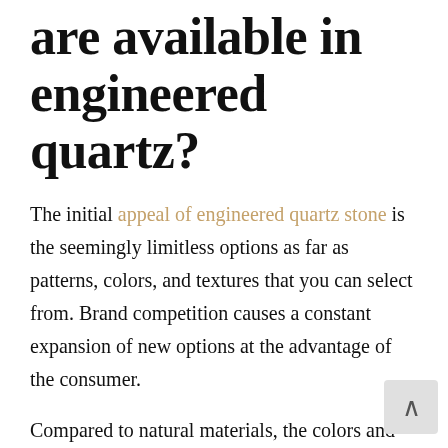are available in engineered quartz?
The initial appeal of engineered quartz stone is the seemingly limitless options as far as patterns, colors, and textures that you can select from. Brand competition causes a constant expansion of new options at the advantage of the consumer.
Compared to natural materials, the colors and textures are usually going to appear more uniform, but there are some products that mimic these same qualities.